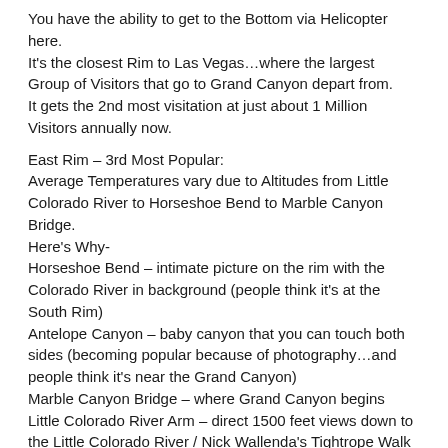You have the ability to get to the Bottom via Helicopter here. It's the closest Rim to Las Vegas…where the largest Group of Visitors that go to Grand Canyon depart from. It gets the 2nd most visitation at just about 1 Million Visitors annually now.
East Rim – 3rd Most Popular: Average Temperatures vary due to Altitudes from Little Colorado River to Horseshoe Bend to Marble Canyon Bridge. Here's Why- Horseshoe Bend – intimate picture on the rim with the Colorado River in background (people think it's at the South Rim) Antelope Canyon – baby canyon that you can touch both sides (becoming popular because of photography…and people think it's near the Grand Canyon) Marble Canyon Bridge – where Grand Canyon begins Little Colorado River Arm – direct 1500 feet views down to the Little Colorado River / Nick Wallenda's Tightrope Walk across It gets Grand Canyon visitors who are leaving the South Rim and transitioning to the North Rim, Zion National Park, Bryce Canyon National Park and Monument Valley.